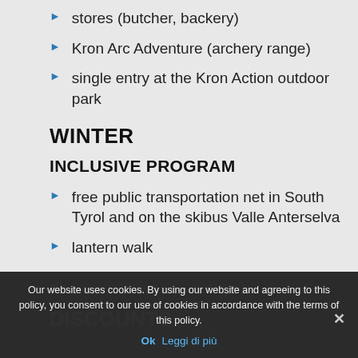stores (butcher, backery)
Kron Arc Adventure (archery range)
single entry at the Kron Action outdoor park
WINTER
INCLUSIVE PROGRAM
free public transportation net in South Tyrol and on the skibus Valle Anterselva
lantern walk
curling athe fish pond at Anterselva di Sotto
Internet access – hot spot
DISCOUNTS
Our website uses cookies. By using our website and agreeing to this policy, you consent to our use of cookies in accordance with the terms of this policy.